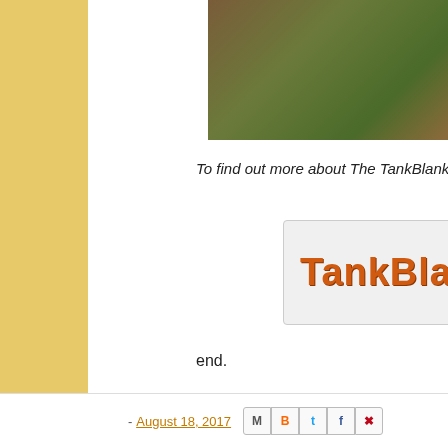[Figure (photo): Partial view of rocky terrain with layered stones and green vegetation/grass at the top]
To find out more about The TankBlanket System ple…
[Figure (logo): TankBlanket logo in orange/brown bold text on light gray background]
end.
- August 18, 2017  [share icons: email, blogger, twitter, facebook, pinterest]